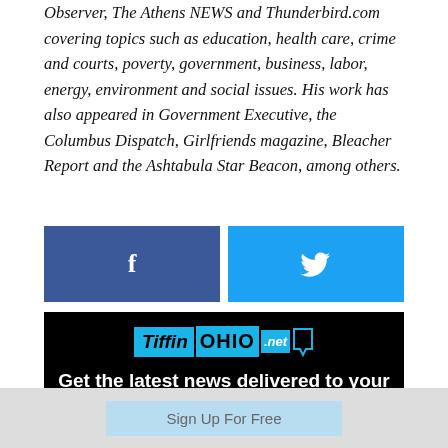Observer, The Athens NEWS and Thunderbird.com covering topics such as education, health care, crime and courts, poverty, government, business, labor, energy, environment and social issues. His work has also appeared in Government Executive, the Columbus Dispatch, Girlfriends magazine, Bleacher Report and the Ashtabula Star Beacon, among others.
[Figure (other): Social share buttons: Facebook (blue) and Twitter (cyan) side by side]
[Figure (infographic): TiffinOHIO.net advertisement on black background with text 'Get the latest news delivered to your inbox.' and a 'Sign Up For Free' button]